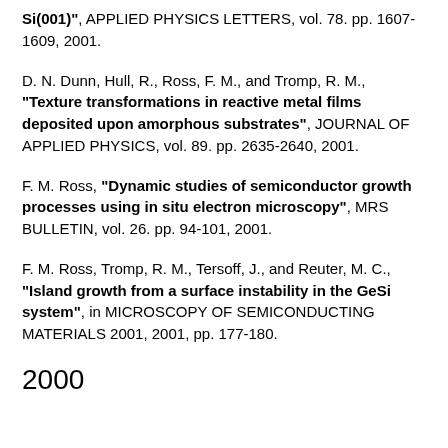Si(001)", APPLIED PHYSICS LETTERS, vol. 78. pp. 1607-1609, 2001.
D. N. Dunn, Hull, R., Ross, F. M., and Tromp, R. M., "Texture transformations in reactive metal films deposited upon amorphous substrates", JOURNAL OF APPLIED PHYSICS, vol. 89. pp. 2635-2640, 2001.
F. M. Ross, "Dynamic studies of semiconductor growth processes using in situ electron microscopy", MRS BULLETIN, vol. 26. pp. 94-101, 2001.
F. M. Ross, Tromp, R. M., Tersoff, J., and Reuter, M. C., "Island growth from a surface instability in the GeSi system", in MICROSCOPY OF SEMICONDUCTING MATERIALS 2001, 2001, pp. 177-180.
2000